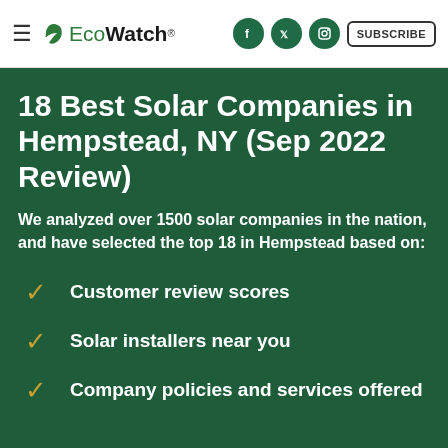≡ EcoWatch® [social icons] SUBSCRIBE
18 Best Solar Companies in Hempstead, NY (Sep 2022 Review)
We analyzed over 1500 solar companies in the nation, and have selected the top 18 in Hempstead based on:
Customer review scores
Solar installers near you
Company policies and services offered